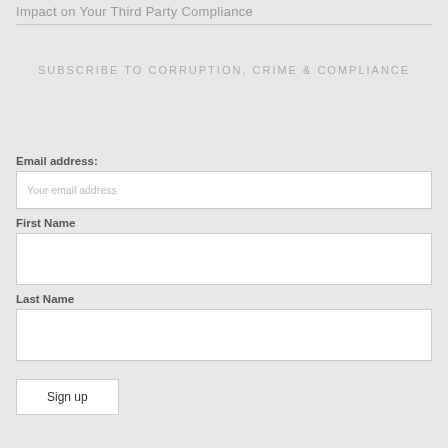Impact on Your Third Party Compliance
SUBSCRIBE TO CORRUPTION, CRIME & COMPLIANCE
Email address:
Your email address
First Name
Last Name
Sign up